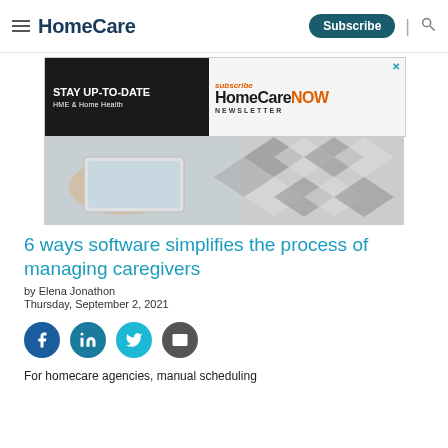HomeCare | Subscribe | Search
[Figure (screenshot): Advertisement banner for HomeCare NOW Newsletter with text 'STAY UP-TO-DATE HME & Home Health | subscribe HomeCare NOW NEWSLETTER']
[Figure (photo): Hero image showing a person holding a tablet device with a checkered pattern blanket visible in the background]
6 ways software simplifies the process of managing caregivers
by Elena Jonathon
Thursday, September 2, 2021
[Figure (infographic): Social sharing icons: Facebook, LinkedIn, Twitter, Email]
For homecare agencies, manual scheduling